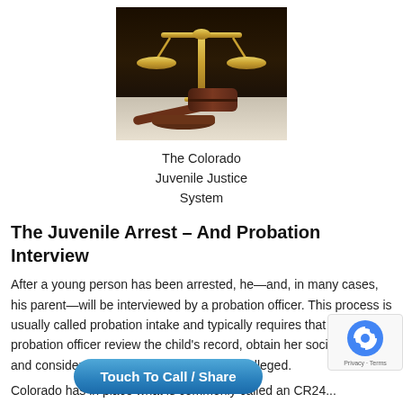[Figure (photo): Photo of golden scales of justice and a wooden judge's gavel on a table against a dark background]
The Colorado Juvenile Justice System
The Juvenile Arrest – And Probation Interview
After a young person has been arrested, he—and, in many cases, his parent—will be interviewed by a probation officer. This process is usually called probation intake and typically requires that the probation officer review the child's record, obtain her social history, and consider the seriousness of the crime alleged.
Colorado has in place what is commonly called an CR24...